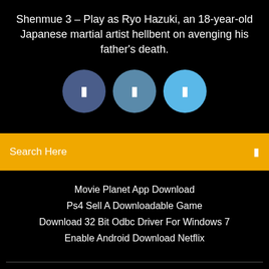Shenmue 3 – Play as Ryo Hazuki, an 18-year-old Japanese martial artist hellbent on avenging his father's death.
[Figure (infographic): Three circular social media / navigation icon buttons in blue shades (dark blue, medium blue, light blue), each containing a small white icon/symbol.]
Search Here
Movie Planet App Download
Ps4 Sell A Downloadable Game
Download 32 Bit Odbc Driver For Windows 7
Enable Android Download Netflix
Copyright ©2022 All rights reserved | This template is made with ♥ by Colorlib